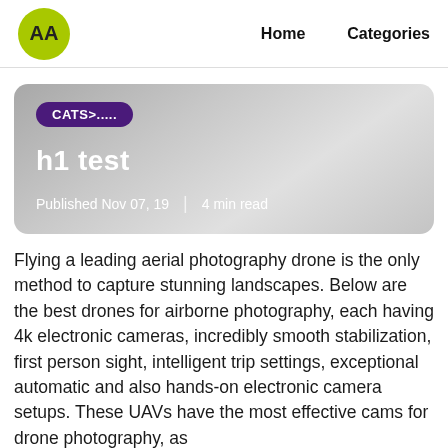AA  Home  Categories
[Figure (other): Article card with category badge 'CATS>.....' title 'h1 test' and metadata 'Published Nov 07, 19 | 4 min read']
Flying a leading aerial photography drone is the only method to capture stunning landscapes. Below are the best drones for airborne photography, each having 4k electronic cameras, incredibly smooth stabilization, first person sight, intelligent trip settings, exceptional automatic and also hands-on electronic camera setups. These UAVs have the most effective cams for drone photography, as